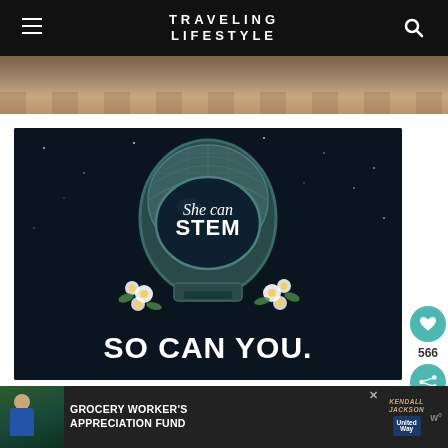TRAVELING LIFESTYLE
[Figure (photo): Top strip showing a wooden floor interior]
[Figure (illustration): Astronaut helmet with flowers illustration on dark background. Text reads 'She can STEM SO CAN YOU.']
566
[Figure (photo): Advertisement banner: GROCERY WORKER'S APPRECIATION FUND with Kendall Jackson and United Way logos]